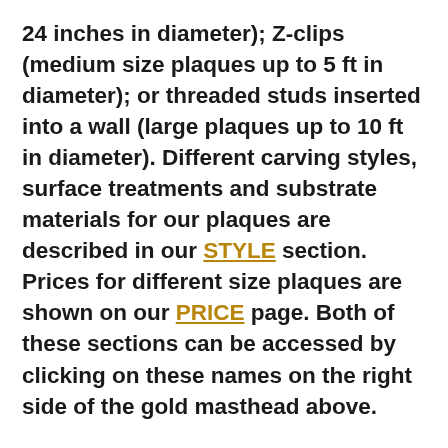24 inches in diameter); Z-clips (medium size plaques up to 5 ft in diameter); or threaded studs inserted into a wall (large plaques up to 10 ft in diameter). Different carving styles, surface treatments and substrate materials for our plaques are described in our STYLE section. Prices for different size plaques are shown on our PRICE page. Both of these sections can be accessed by clicking on these names on the right side of the gold masthead above.
For more information on design options, prices